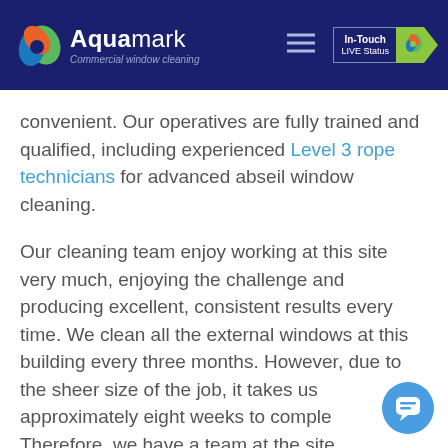Aquamark — Commercial window cleaning
convenient. Our operatives are fully trained and qualified, including experienced Level 3 rope technicians for advanced abseil window cleaning.
Our cleaning team enjoy working at this site very much, enjoying the challenge and producing excellent, consistent results every time. We clean all the external windows at this building every three months. However, due to the sheer size of the job, it takes us approximately eight weeks to complete. Therefore, we have a team at the site